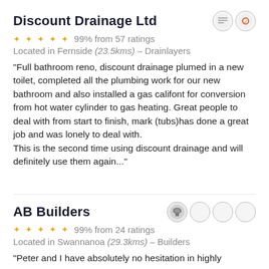Discount Drainage Ltd
99% from 57 ratings
Located in Fernside (23.5kms) – Drainlayers
"Full bathroom reno, discount drainage plumed in a new toilet, completed all the plumbing work for our new bathroom and also installed a gas califont for conversion from hot water cylinder to gas heating. Great people to deal with from start to finish, mark (tubs)has done a great job and was lonely to deal with.
This is the second time using discount drainage and will definitely use them again..."
AB Builders
99% from 24 ratings
Located in Swannanoa (29.3kms) – Builders
"Peter and I have absolutely no hesitation in highly